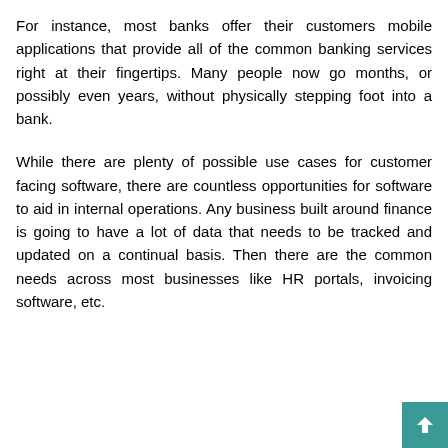For instance, most banks offer their customers mobile applications that provide all of the common banking services right at their fingertips. Many people now go months, or possibly even years, without physically stepping foot into a bank.
While there are plenty of possible use cases for customer facing software, there are countless opportunities for software to aid in internal operations. Any business built around finance is going to have a lot of data that needs to be tracked and updated on a continual basis. Then there are the common needs across most businesses like HR portals, invoicing software, etc.